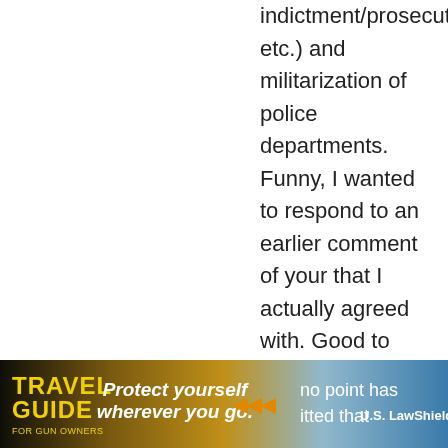indictment/prosecution, etc.) and militarization of police departments. Funny, I wanted to respond to an earlier comment of your that I actually agreed with. Good to know that I only had to go a bit further down the page for you to turn my stomach again. You seem to go out of your way to alienate people who want the same thing that you do, at least on this subject.
Reply
pwrserge
September 5, 2017 At 12:16
Yeah… they aren't anti-abuse of authority. They are pro-criminal so long as those criminals are the right color. I don't care what ... no point has ... itted that
[Figure (photo): Advertisement banner for Travel Guide For Gun Owners featuring 'Protect yourself wherever you go.' with play buttons and LawShield branding]